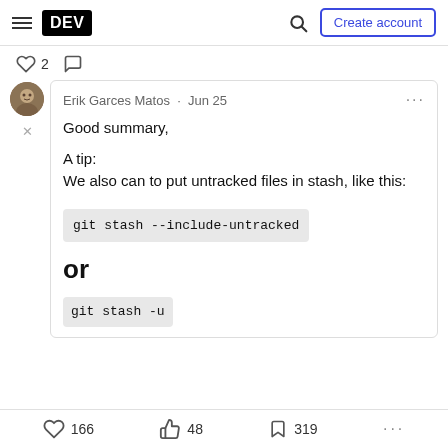DEV — Create account
♡ 2  ○
Erik Garces Matos · Jun 25
Good summary,

A tip:
We also can to put untracked files in stash, like this:

git stash --include-untracked

or

git stash -u
♡ 166   48   319   ...